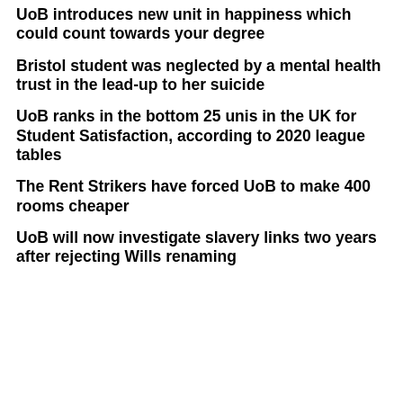UoB introduces new unit in happiness which could count towards your degree
Bristol student was neglected by a mental health trust in the lead-up to her suicide
UoB ranks in the bottom 25 unis in the UK for Student Satisfaction, according to 2020 league tables
The Rent Strikers have forced UoB to make 400 rooms cheaper
UoB will now investigate slavery links two years after rejecting Wills renaming